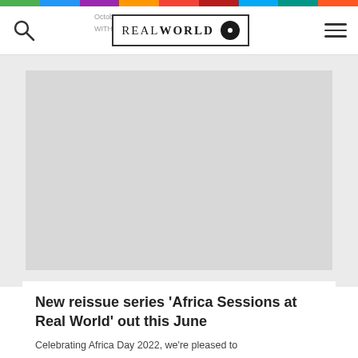[Figure (other): Rainbow colored horizontal stripe bar at the very top of the page]
REALWORLD
[Figure (other): Large gray image placeholder rectangle]
New reissue series ‘Africa Sessions at Real World’ out this June
Celebrating Africa Day 2022, we’re pleased to